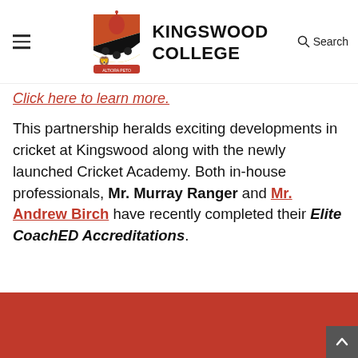Kingswood College
Click here to learn more.
This partnership heralds exciting developments in cricket at Kingswood along with the newly launched Cricket Academy. Both in-house professionals, Mr. Murray Ranger and Mr. Andrew Birch have recently completed their Elite CoachED Accreditations.
[Figure (other): Red banner at bottom of page]